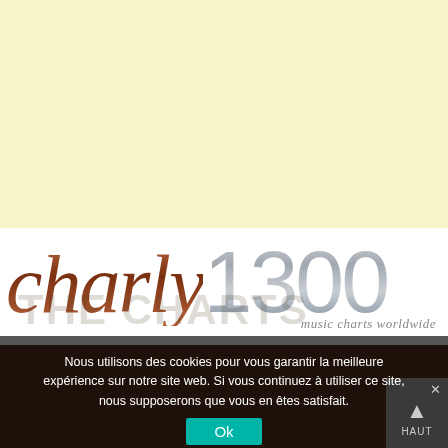[Figure (other): Light yellow/cream solid background block occupying the top half of the page]
charly1300
music charts worldwide
Nous utilisons des cookies pour vous garantir la meilleure expérience sur notre site web. Si vous continuez à utiliser ce site, nous supposerons que vous en êtes satisfait.
Ok